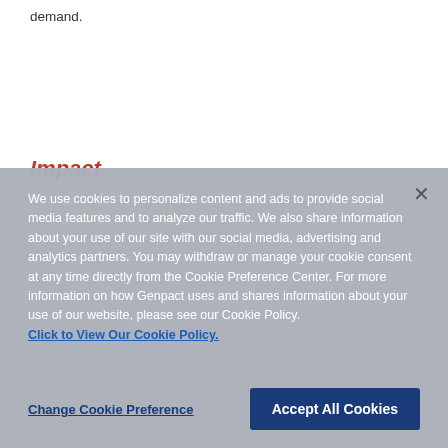demand.
Impact
We use cookies to personalize content and ads to provide social media features and to analyze our traffic. We also share information about your use of our site with our social media, advertising and analytics partners. You may withdraw or manage your cookie consent at any time directly from the Cookie Preference Center. For more information on how Genpact uses and shares information about your use of our website, please see our Cookie Policy.
Click to View Our Cookie Policy.
Change Cookie Preference
Accept All Cookies